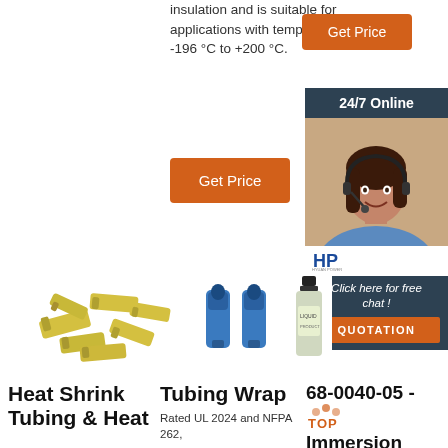insulation and is suitable for applications with temperatures of -196 °C to +200 °C.
[Figure (other): Orange 'Get Price' button (top right)]
[Figure (other): Orange 'Get Price' button (middle left)]
[Figure (other): 24/7 Online chat widget with woman wearing headset, HP logo, 'Click here for free chat!' text, and orange QUOTATION button]
[Figure (photo): Yellow heat shrink tubing connectors scattered]
[Figure (photo): Two blue tubing wrap connectors standing upright]
[Figure (photo): Small dark bottle product (immersion well)]
Heat Shrink Tubing & Heat
Tubing Wrap
Rated UL 2024 and NFPA 262,
68-0040-05 - Immersion Wells and